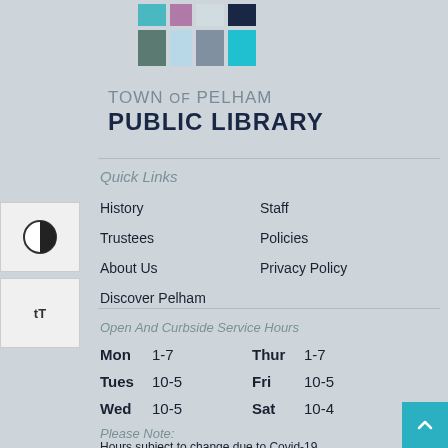[Figure (logo): Town of Pelham Public Library colorful grid logo with teal, purple, navy, light blue, slate, and cyan squares arranged in a grid pattern]
TOWN of PELHAM PUBLIC LIBRARY
Quick Links
History
Staff
Trustees
Policies
About Us
Privacy Policy
Discover Pelham
Open And Curbside Service Hours
| Day | Hours | Day | Hours |
| --- | --- | --- | --- |
| Mon | 1-7 | Thur | 1-7 |
| Tues | 10-5 | Fri | 10-5 |
| Wed | 10-5 | Sat | 10-4 |
Please Note:
Hours subject to change due to Covid-19.